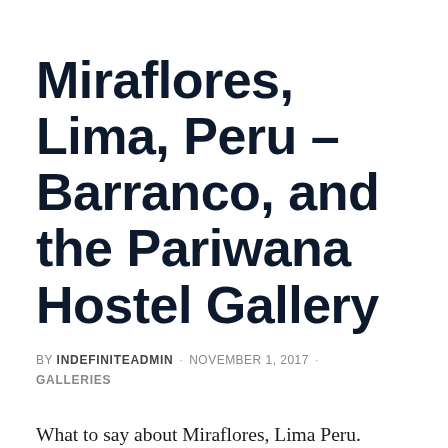Miraflores, Lima, Peru – Barranco, and the Pariwana Hostel Gallery
BY INDEFINITEADMIN · NOVEMBER 1, 2017 · GALLERIES
What to say about Miraflores, Lima Peru.  Many skip right over this large town.  However, we decided to give it a try and we are glad we did.